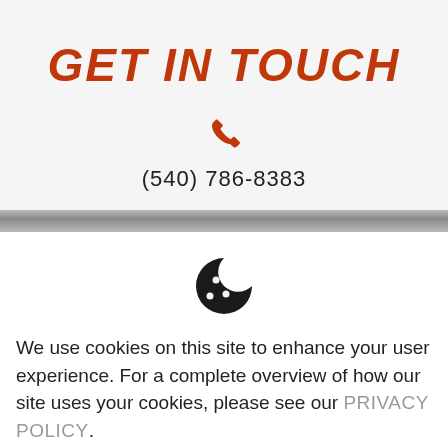GET IN TOUCH
(540) 786-8383
[Figure (illustration): Cookie icon - a cookie with a bite taken out, with dots/chips on it]
We use cookies on this site to enhance your user experience. For a complete overview of how our site uses your cookies, please see our PRIVACY POLICY.
HIDE MESSAGE